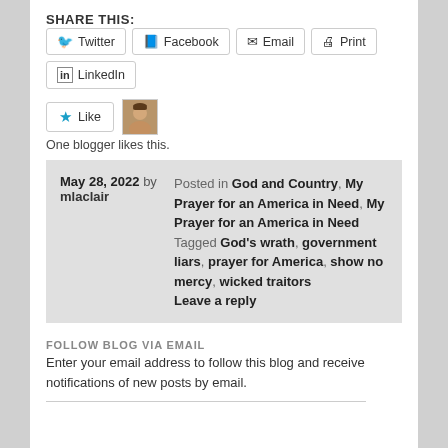SHARE THIS:
Twitter  Facebook  Email  Print  LinkedIn
Like  One blogger likes this.
May 28, 2022 by mlaclair  Posted in God and Country, My Prayer for an America in Need, My Prayer for an America in Need  Tagged God's wrath, government liars, prayer for America, show no mercy, wicked traitors  Leave a reply
FOLLOW BLOG VIA EMAIL
Enter your email address to follow this blog and receive notifications of new posts by email.